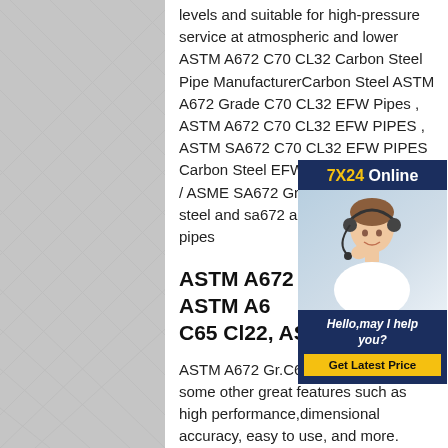levels and suitable for high-pressure service at atmospheric and lower ASTM A672 C70 CL32 Carbon Steel Pipe ManufacturerCarbon Steel ASTM A672 Grade C70 CL32 EFW Pipes , ASTM A672 C70 CL32 EFW PIPES , ASTM SA672 C70 CL32 EFW PIPES Carbon Steel EFW Pipes ASTM A672 / ASME SA672 Grade C60 carbon steel and sa672 astm a672 c60 cl32 pipes
ASTM A672 C65 Pipe, ASTM A672 C65 Cl22, ASTM A672 Gr
ASTM A672 Gr.C65 EFW Pipe offers some other great features such as high performance,dimensional accuracy, easy to use, and more. ASTM A672 Gr.C65 EFW Carbon Steel Pipe is extensively
[Figure (photo): Advertisement overlay showing a customer service representative wearing a headset, with dark blue background. Header reads '7X24 Online' in yellow/white text. Bottom shows 'Hello,may I help you?' in white italic text and a yellow 'Get Latest Price' button.]